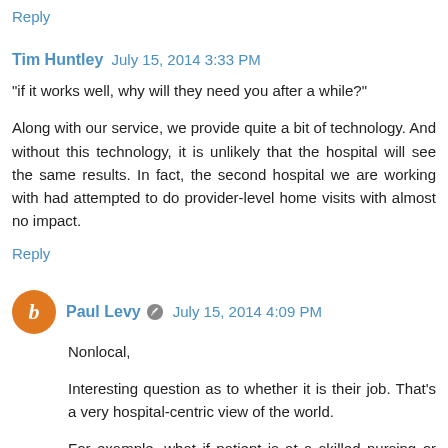Reply
Tim Huntley  July 15, 2014 3:33 PM
"if it works well, why will they need you after a while?"
Along with our service, we provide quite a bit of technology. And without this technology, it is unlikely that the hospital will see the same results. In fact, the second hospital we are working with had attempted to do provider-level home visits with almost no impact.
Reply
Paul Levy  July 15, 2014 4:09 PM
Nonlocal,
Interesting question as to whether it is their job. That's a very hospital-centric view of the world.
For example, what if patient is at a skilled nursing or rehab